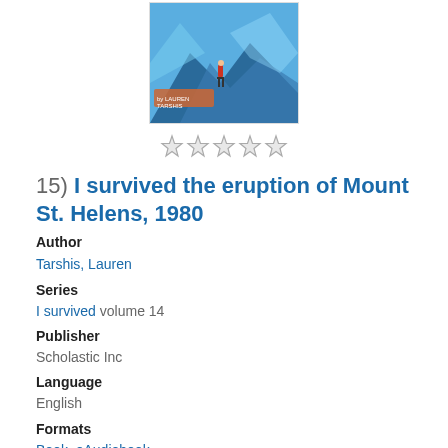[Figure (photo): Book cover for 'I survived the eruption of Mount St. Helens, 1980' showing a figure standing on a mountain ledge with blue/icy volcanic scenery and the author name Lauren Tarshis]
[Figure (other): Five empty/unfilled star rating icons]
15) I survived the eruption of Mount St. Helens, 1980
Author
Tarshis, Lauren
Series
I survived volume 14
Publisher
Scholastic Inc
Language
English
Formats
Book, eAudiobook
Description
Read Description
More Info | Add a Review | Add to list
[Figure (other): Social sharing icons: mail, Twitter, and Facebook buttons; back-to-top arrow button in tan/beige circle]
[Figure (photo): Partial view of next book cover (blue/dark colored)]